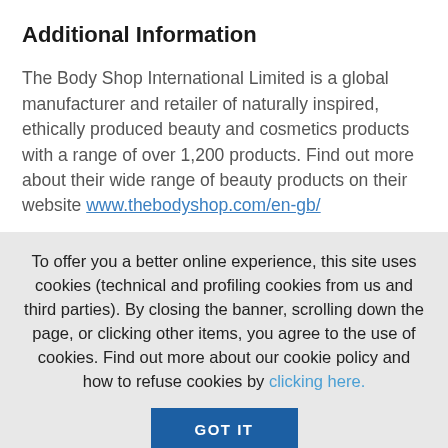Additional Information
The Body Shop International Limited is a global manufacturer and retailer of naturally inspired, ethically produced beauty and cosmetics products with a range of over 1,200 products. Find out more about their wide range of beauty products on their website www.thebodyshop.com/en-gb/
To offer you a better online experience, this site uses cookies (technical and profiling cookies from us and third parties). By closing the banner, scrolling down the page, or clicking other items, you agree to the use of cookies. Find out more about our cookie policy and how to refuse cookies by clicking here.
GOT IT